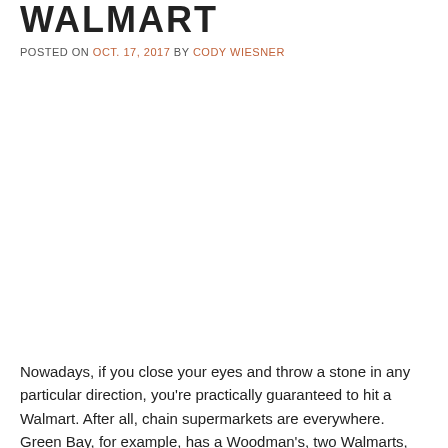WALMART
POSTED ON OCT. 17, 2017 BY CODY WIESNER
Nowadays, if you close your eyes and throw a stone in any particular direction, you're practically guaranteed to hit a Walmart. After all, chain supermarkets are everywhere. Green Bay, for example, has a Woodman's, two Walmarts, three Pick 'n Saves and four Festival